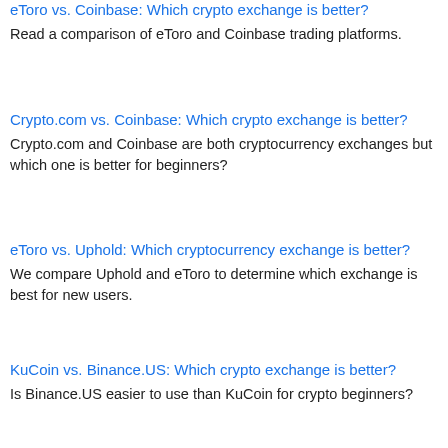eToro vs. Coinbase: Which crypto exchange is better?
Read a comparison of eToro and Coinbase trading platforms.
Crypto.com vs. Coinbase: Which crypto exchange is better?
Crypto.com and Coinbase are both cryptocurrency exchanges but which one is better for beginners?
eToro vs. Uphold: Which cryptocurrency exchange is better?
We compare Uphold and eToro to determine which exchange is best for new users.
KuCoin vs. Binance.US: Which crypto exchange is better?
Is Binance.US easier to use than KuCoin for crypto beginners?